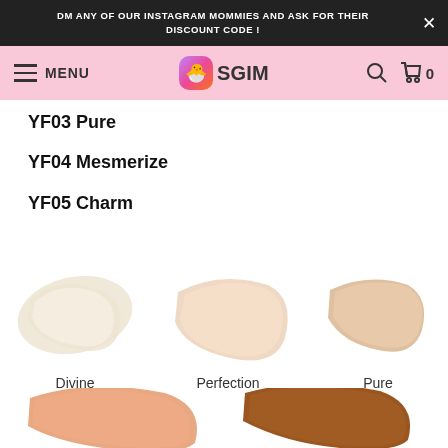DM ANY OF OUR INSTAGRAM MOMMIES AND ASK FOR THEIR DISCOUNT CODE!
[Figure (screenshot): Website navigation bar with SGIM logo, menu, search, and cart icons on a pink background]
YF03 Pure
YF04 Mesmerize
YF05 Charm
[Figure (illustration): Three foundation cream swatches labeled Divine (very light beige), Perfection (light peach-beige), and Pure (light tan)]
[Figure (illustration): Two foundation cream swatches partially visible labeled Mesmerize (peachy-tan) and Charm (medium-dark brown), cropped at bottom]